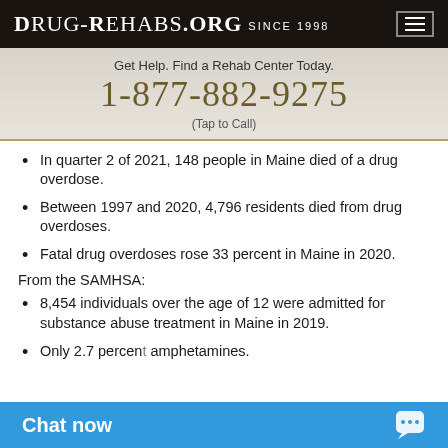Drug-Rehabs.org Since 1998
Get Help. Find a Rehab Center Today.
1-877-882-9275
(Tap to Call)
In quarter 2 of 2021, 148 people in Maine died of a drug overdose.
Between 1997 and 2020, 4,796 residents died from drug overdoses.
Fatal drug overdoses rose 33 percent in Maine in 2020.
From the SAMHSA:
8,454 individuals over the age of 12 were admitted for substance abuse treatment in Maine in 2019.
Only 2.7 percent amphetamines.